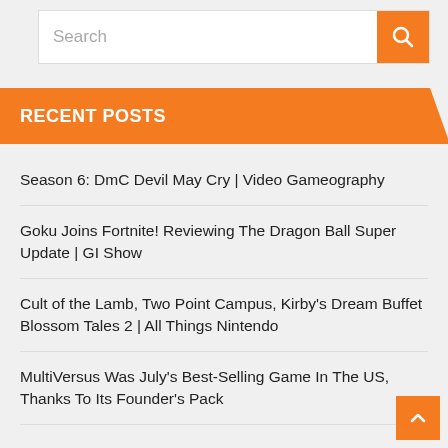[Figure (screenshot): Search bar with orange search button containing magnifying glass icon]
RECENT POSTS
Season 6: DmC Devil May Cry | Video Gameography
Goku Joins Fortnite! Reviewing The Dragon Ball Super Update | GI Show
Cult of the Lamb, Two Point Campus, Kirby's Dream Buffet Blossom Tales 2 | All Things Nintendo
MultiVersus Was July's Best-Selling Game In The US, Thanks To Its Founder's Pack